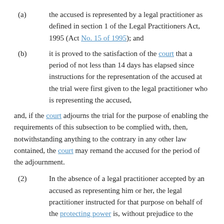(a) the accused is represented by a legal practitioner as defined in section 1 of the Legal Practitioners Act, 1995 (Act No. 15 of 1995); and
(b) it is proved to the satisfaction of the court that a period of not less than 14 days has elapsed since instructions for the representation of the accused at the trial were first given to the legal practitioner who is representing the accused,
and, if the court adjourns the trial for the purpose of enabling the requirements of this subsection to be complied with, then, notwithstanding anything to the contrary in any other law contained, the court may remand the accused for the period of the adjournment.
(2) In the absence of a legal practitioner accepted by an accused as representing him or her, the legal practitioner instructed for that purpose on behalf of the protecting power is, without prejudice to the